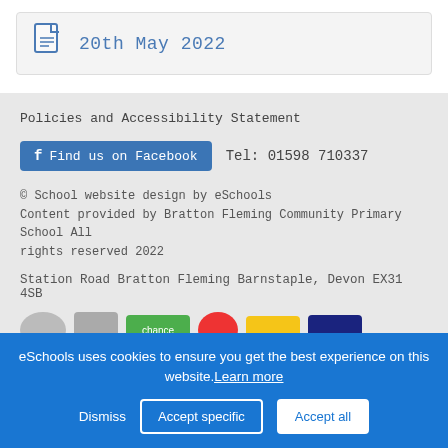20th May 2022
Policies and Accessibility Statement
Find us on Facebook   Tel: 01598 710337
© School website design by eSchools
Content provided by Bratton Fleming Community Primary School All rights reserved 2022
Station Road Bratton Fleming Barnstaple, Devon EX31 4SB
[Figure (logo): Row of partner/accreditation logos partially visible]
eSchools uses cookies to ensure you get the best experience on this website. Learn more
Dismiss   Accept specific   Accept all